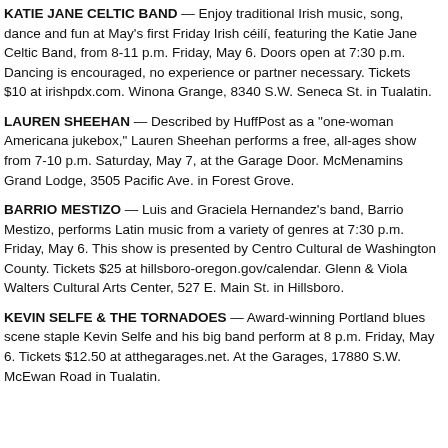KATIE JANE CELTIC BAND — Enjoy traditional Irish music, song, dance and fun at May's first Friday Irish céilí, featuring the Katie Jane Celtic Band, from 8-11 p.m. Friday, May 6. Doors open at 7:30 p.m. Dancing is encouraged, no experience or partner necessary. Tickets $10 at irishpdx.com. Winona Grange, 8340 S.W. Seneca St. in Tualatin.
LAUREN SHEEHAN — Described by HuffPost as a "one-woman Americana jukebox," Lauren Sheehan performs a free, all-ages show from 7-10 p.m. Saturday, May 7, at the Garage Door. McMenamins Grand Lodge, 3505 Pacific Ave. in Forest Grove.
BARRIO MESTIZO — Luis and Graciela Hernandez's band, Barrio Mestizo, performs Latin music from a variety of genres at 7:30 p.m. Friday, May 6. This show is presented by Centro Cultural de Washington County. Tickets $25 at hillsboro-oregon.gov/calendar. Glenn & Viola Walters Cultural Arts Center, 527 E. Main St. in Hillsboro.
KEVIN SELFE & THE TORNADOES — Award-winning Portland blues scene staple Kevin Selfe and his big band perform at 8 p.m. Friday, May 6. Tickets $12.50 at atthegarages.net. At the Garages, 17880 S.W. McEwan Road in Tualatin.